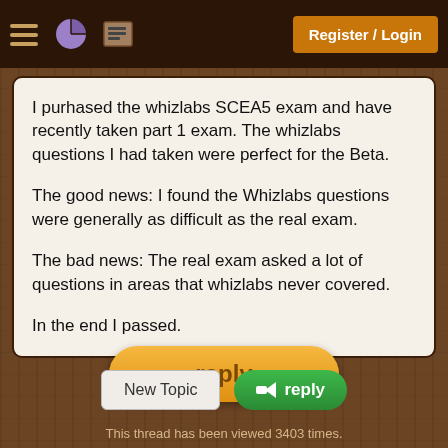Register / Login
I purhased the whizlabs SCEA5 exam and have recently taken part 1 exam. The whizlabs questions I had taken were perfect for the Beta.

The good news: I found the Whizlabs questions were generally as difficult as the real exam.

The bad news: The real exam asked a lot of questions in areas that whizlabs never covered.

In the end I passed.
reply
New Topic
reply
This thread has been viewed 3403 times.